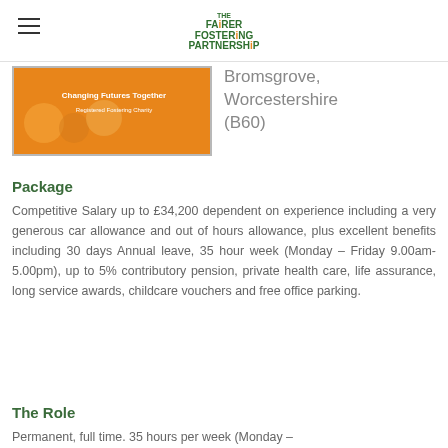Fairer Fostering Partnership
[Figure (logo): Fairer Fostering Partnership logo with orange background and children illustration, text 'Changing Futures Together, Registered Fostering Charity']
Bromsgrove, Worcestershire (B60)
Package
Competitive Salary up to £34,200 dependent on experience including a very generous car allowance and out of hours allowance, plus excellent benefits including 30 days Annual leave, 35 hour week (Monday – Friday 9.00am-5.00pm), up to 5% contributory pension, private health care, life assurance, long service awards, childcare vouchers and free office parking.
The Role
Permanent, full time. 35 hours per week (Monday – Thursday 9.00am – 5.00pm, Friday 9.00am...